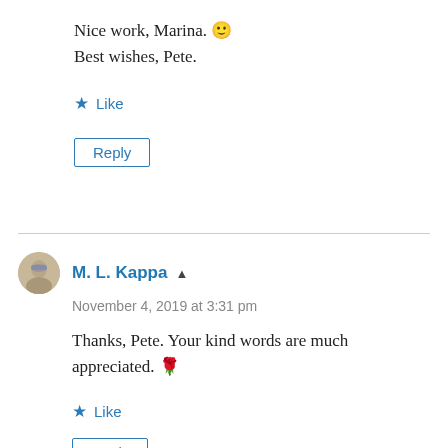Nice work, Marina. 🙂
Best wishes, Pete.
★ Like
Reply
M. L. Kappa ▲
November 4, 2019 at 3:31 pm
Thanks, Pete. Your kind words are much appreciated. 🌹
★ Like
Reply